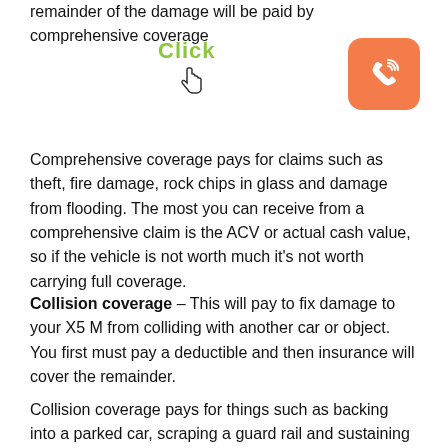remainder of the damage will be paid by comprehensive coverage
[Figure (illustration): Green 'Click' text with hand cursor icon and orange phone button icon in top right]
Comprehensive coverage pays for claims such as theft, fire damage, rock chips in glass and damage from flooding. The most you can receive from a comprehensive claim is the ACV or actual cash value, so if the vehicle is not worth much it's not worth carrying full coverage.
Collision coverage – This will pay to fix damage to your X5 M from colliding with another car or object. You first must pay a deductible and then insurance will cover the remainder.
Collision coverage pays for things such as backing into a parked car, scraping a guard rail and sustaining damage from a pot hole. Paying for collision coverage can be pricey, so analyze the benefit of dropping coverage from